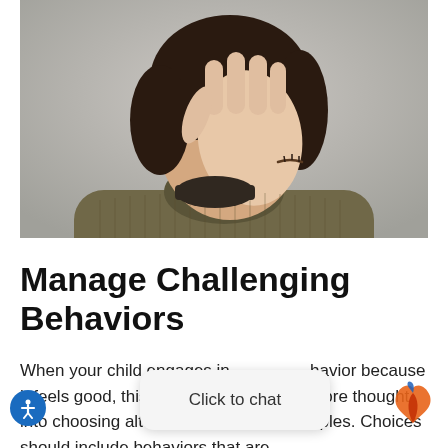[Figure (photo): Child covering face with hand, wearing a knit sweater, against a gray background]
Manage Challenging Behaviors
When your child engages in behavior because it feels good, this can be harder to put more thought into choosing alternative behavior examples. Choices should include behaviors that are